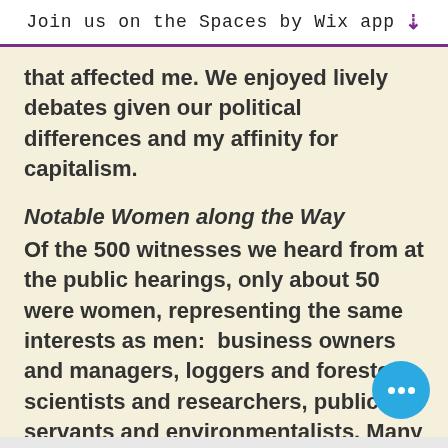Join us on the Spaces by Wix app ↓
that affected me. We enjoyed lively debates given our political differences and my affinity for capitalism.
Notable Women along the Way
Of the 500 witnesses we heard from at the public hearings, only about 50 were women, representing the same interests as men:  business owners and managers, loggers and foresters, scientists and researchers, public servants and environmentalists. Many of these women have continued to have impressive careers and made valuable contributions to forestry.  For